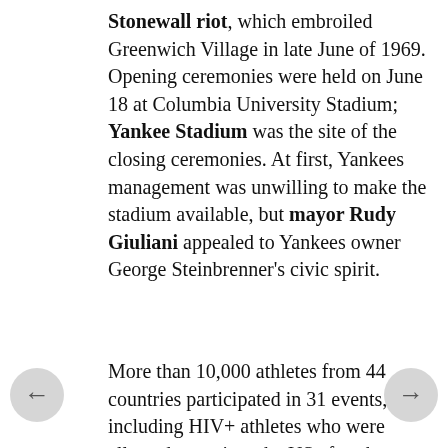Stonewall riot, which embroiled Greenwich Village in late June of 1969. Opening ceremonies were held on June 18 at Columbia University Stadium; Yankee Stadium was the site of the closing ceremonies. At first, Yankees management was unwilling to make the stadium available, but mayor Rudy Giuliani appealed to Yankees owner George Steinbrenner's civic spirit.
More than 10,000 athletes from 44 countries participated in 31 events, including HIV+ athletes who were allowed entry into the US after the Clinton administration waived visa